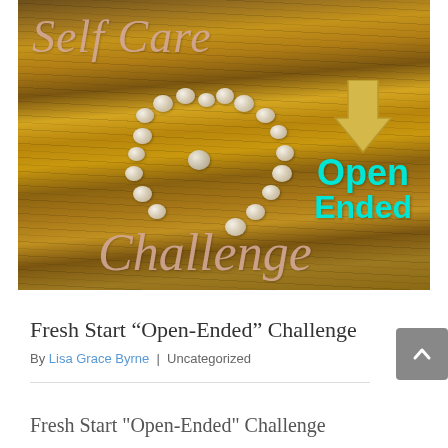[Figure (photo): A wooden board with a heart shape made of pebbles/stones. Overlaid text reads 'Self Care' in pink cursive at top left, 'Challenge' in pink cursive at bottom right, 'Open Ended' in bold cyan/turquoise text with a yellow arrow pointing down on the right side.]
Fresh Start “Open-Ended” Challenge
By Lisa Grace Byrne | Uncategorized
Fresh Start "Open-Ended" Challenge